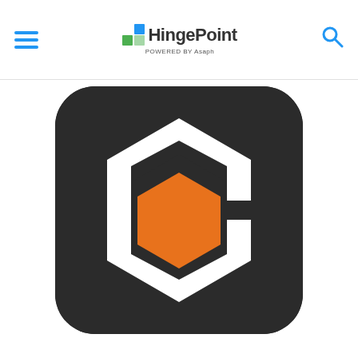HingePoint powered by Asaph
[Figure (logo): HingePoint logo: dark rounded square with a white C-shape hexagon outline and an orange hexagon in the center]